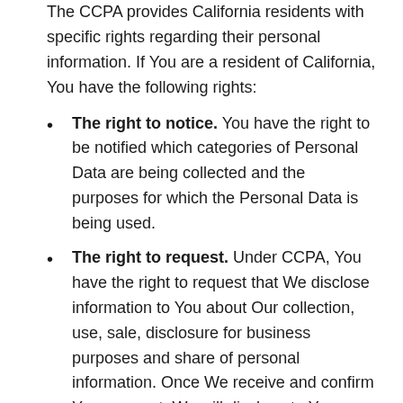The CCPA provides California residents with specific rights regarding their personal information. If You are a resident of California, You have the following rights:
The right to notice. You have the right to be notified which categories of Personal Data are being collected and the purposes for which the Personal Data is being used.
The right to request. Under CCPA, You have the right to request that We disclose information to You about Our collection, use, sale, disclosure for business purposes and share of personal information. Once We receive and confirm Your request, We will disclose to You:
The categories of personal information We collected about You
The categories of sources for the personal